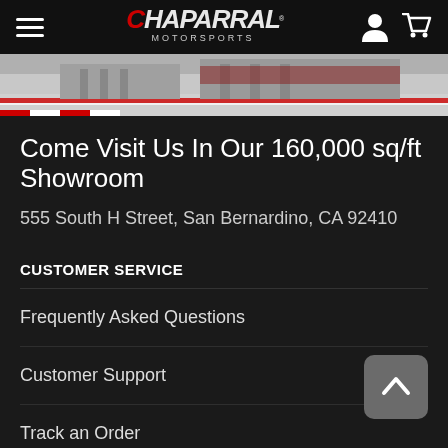Chaparral Motorsports
[Figure (photo): Partial view of a motorsports racetrack facility showroom exterior]
Come Visit Us In Our 160,000 sq/ft Showroom
555 South H Street, San Bernardino, CA 92410
CUSTOMER SERVICE
Frequently Asked Questions
Customer Support
Track an Order